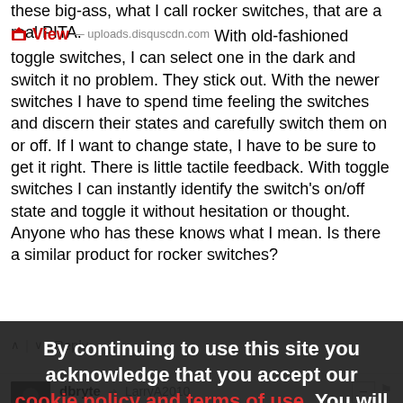these big-ass, what I call rocker switches, that are a real PITA.
View — uploads.disquscdn.com With old-fashioned toggle switches, I can select one in the dark and switch it no problem. They stick out. With the newer switches I have to spend time feeling the switches and discern their states and carefully switch them on or off. If I want to change state, I have to be sure to get it right. There is little tactile feedback. With toggle switches I can instantly identify the switch's on/off state and toggle it without hesitation or thought. Anyone who has these knows what I mean. Is there a similar product for rocker switches?
^ | v   Reply
dbryte → LarryA2010
3 years ago
Yes there is... https://www.amazon.com/Swit...
By continuing to use this site you acknowledge that you accept our cookie policy and terms of use. You will only see this notice on your first visit.
LarryA2010 → dbryte
That would be just the opposite of what I want. I'm not even sure how this thing works on the physical side.